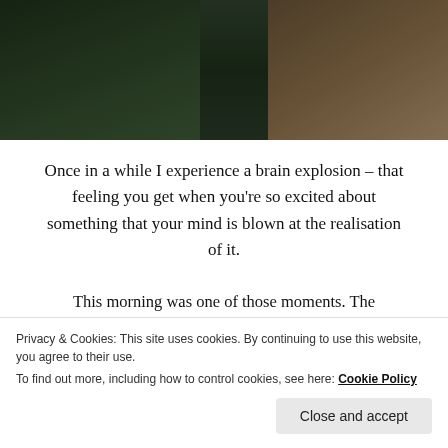[Figure (photo): Dark outdoor photo showing people sitting, with green and brown tones, partially cropped at top of page]
Once in a while I experience a brain explosion – that feeling you get when you're so excited about something that your mind is blown at the realisation of it.
This morning was one of those moments. The wonderful folks behind Sydney's Creative Mornings have been doing a stellar job rounding up a talented bunch of creative minds to speak at their monthly series of themed talks – from Christiaan Van Vuuren (one half of the Bondi...
Privacy & Cookies: This site uses cookies. By continuing to use this website, you agree to their use. To find out more, including how to control cookies, see here: Cookie Policy
Close and accept
for sure.